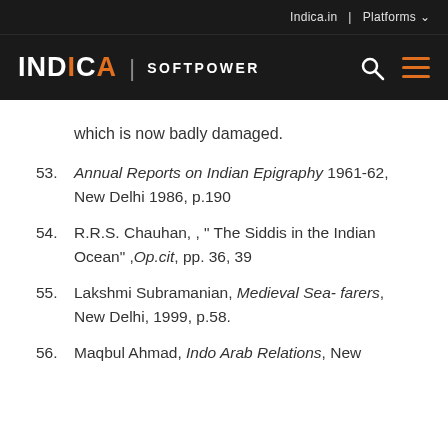Indica.in | Platforms
INDICA | SOFTPOWER
which is now badly damaged.
53. Annual Reports on Indian Epigraphy 1961-62, New Delhi 1986, p.190
54. R.R.S. Chauhan, , " The Siddis in the Indian Ocean" ,Op.cit, pp. 36, 39
55. Lakshmi Subramanian, Medieval Sea- farers, New Delhi, 1999, p.58.
56. Maqbul Ahmad, Indo Arab Relations, New